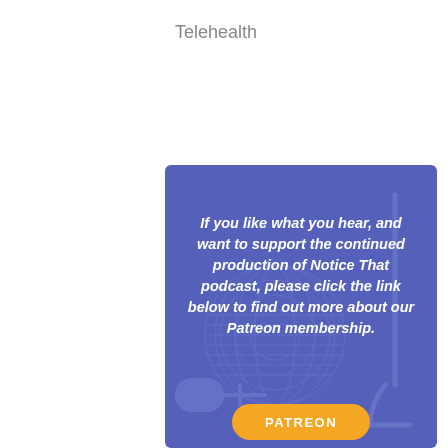Telehealth
[Figure (illustration): Blue rounded rectangle card with a globe/radio antenna watermark illustration in the background. Contains bold italic white text: 'If you like what you hear, and want to support the continued production of Notice That podcast, please click the link below to find out more about our Patreon membership.' An orange rounded button at the bottom reads 'PATREON'.]